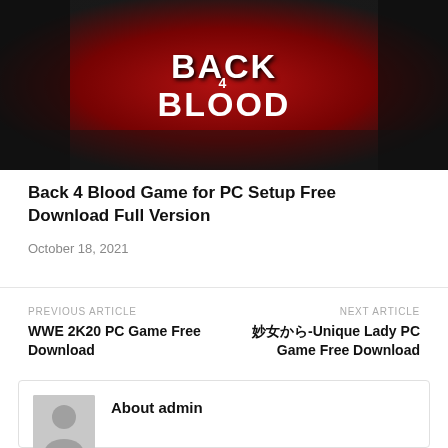[Figure (photo): Back 4 Blood game cover art with red and dark horror themed background and white text logo 'BACK 4 BLOOD']
Back 4 Blood Game for PC Setup Free Download Full Version
October 18, 2021
PREVIOUS ARTICLE
WWE 2K20 PC Game Free Download
NEXT ARTICLE
[????]-Unique Lady PC Game Free Download
About admin